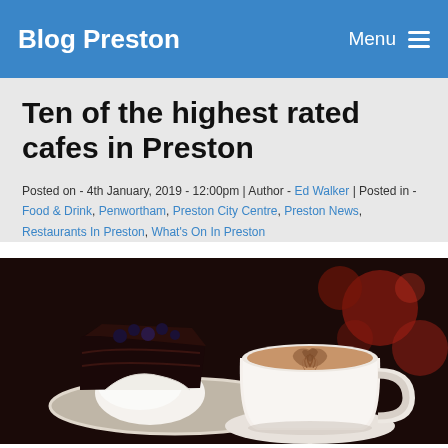Blog Preston | Menu
Ten of the highest rated cafes in Preston
Posted on - 4th January, 2019 - 12:00pm | Author - Ed Walker | Posted in - Food & Drink, Penwortham, Preston City Centre, Preston News, Restaurants In Preston, What's On In Preston
[Figure (photo): Close-up photograph of a cup of latte with latte art (heart pattern) and a slice of dark chocolate cake with cream on a plate, dark moody background with bokeh red lights]